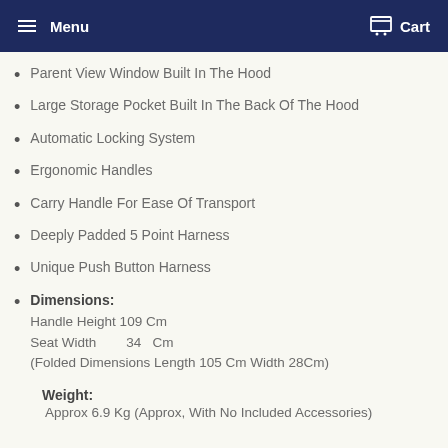Menu  Cart
Parent View Window Built In The Hood
Large Storage Pocket Built In The Back Of The Hood
Automatic Locking System
Ergonomic Handles
Carry Handle For Ease Of Transport
Deeply Padded 5 Point Harness
Unique Push Button Harness
Dimensions:
Handle Height 109 Cm
Seat Width       34  Cm
(Folded Dimensions Length 105 Cm Width 28Cm)
Weight:
Approx 6.9 Kg (Approx, With No Included Accessories)